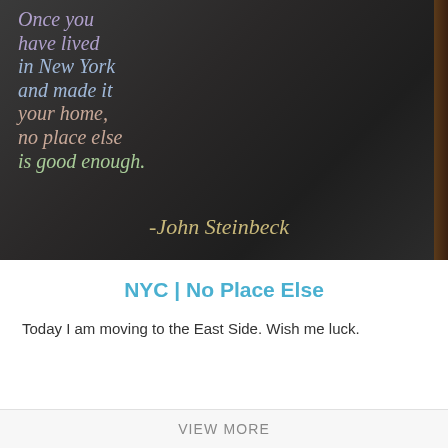[Figure (photo): Photo of a chalk-written quote on a dark board: 'Once you have lived in New York and made it your home, no place else is good enough. -John Steinbeck']
NYC | No Place Else
Today I am moving to the East Side. Wish me luck.
VIEW MORE